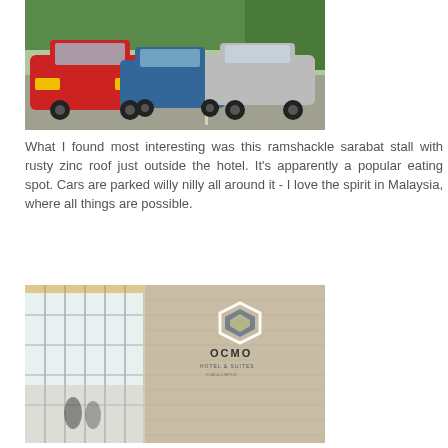[Figure (photo): Street scene with colorful cars including a red taxi and blue car parked near greenery]
What I found most interesting was this ramshackle sarabat stall with rusty zinc roof just outside the hotel. It's apparently a popular eating spot. Cars are parked willy nilly all around it - I love the spirit in Malaysia, where all things are possible.
[Figure (photo): Hotel lobby entrance with glass doors and wooden wall featuring an OCMO hotel logo sign]